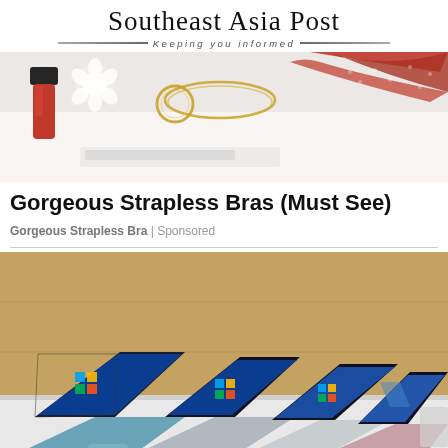Southeast Asia Post — Keeping you informed
[Figure (photo): Advertisement banner image showing nail polish, gold jewelry chain, and red lace lingerie on a white background]
Gorgeous Strapless Bras (Must See)
Gorgeous Strapless Bra | Sponsored
[Figure (photo): Photo of multiple Microsoft Surface laptops displayed on a white table in a showroom, with wooden wall background]